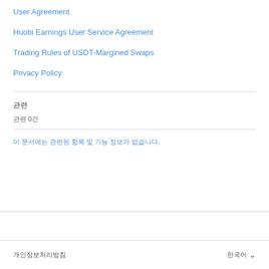User Agreement
Huobi Earnings User Service Agreement
Trading Rules of USDT-Margined Swaps
Privacy Policy
관련
관련 0건
이 문서에는 관련된 항목 및 기능 정보가 없습니다.
개인정보처리방침          한국어 ˅